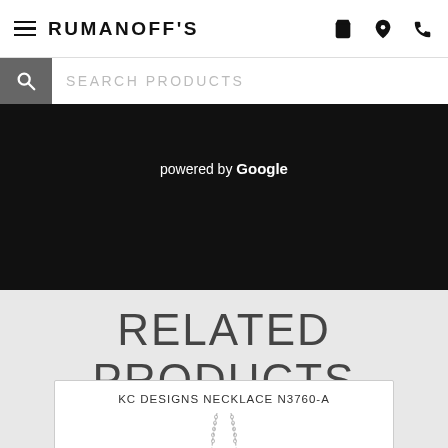RUMANOFF'S
SEARCH PRODUCTS
[Figure (screenshot): Black Google Maps panel with 'powered by Google' text]
RELATED PRODUCTS
KC DESIGNS NECKLACE N3760-A
[Figure (photo): Partial image of a necklace chain on white background]